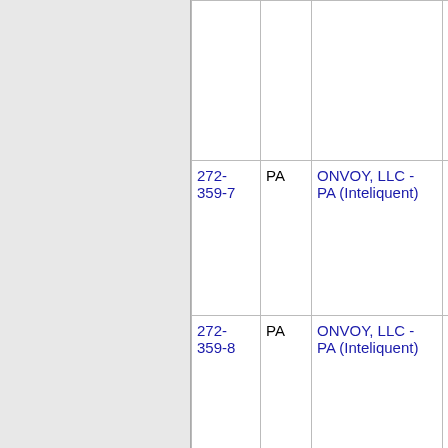| Number | State | Provider | Code |
| --- | --- | --- | --- |
| 272-359-7 | PA | ONVOY, LLC - PA (Inteliquent) | 547E C |
| 272-359-8 | PA | ONVOY, LLC - PA (Inteliquent) | 547E C |